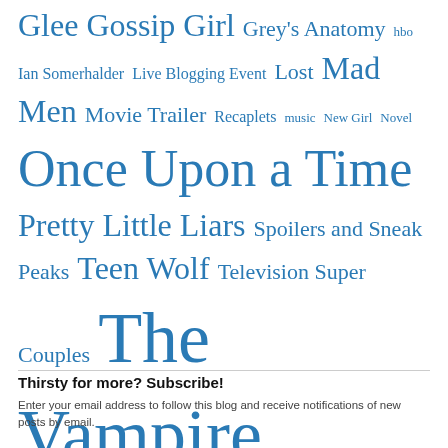Glee  Gossip Girl  Grey's Anatomy  hbo  Ian Somerhalder  Live Blogging Event  Lost  Mad Men  Movie Trailer  Recaplets  music  New Girl  Novel  Once Upon a Time  Pretty Little Liars  Spoilers and Sneak Peaks  Teen Wolf  Television Super Couples  The Vampire Diaries  Top Ten Lists  True Blood  Uncategorized  Veronica Mars
Thirsty for more? Subscribe!
Enter your email address to follow this blog and receive notifications of new posts by email.